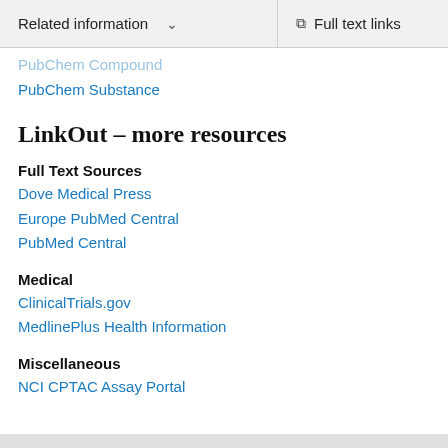Related information  ∨  Full text links
PubChem Compound
PubChem Substance
LinkOut – more resources
Full Text Sources
Dove Medical Press
Europe PubMed Central
PubMed Central
Medical
ClinicalTrials.gov
MedlinePlus Health Information
Miscellaneous
NCI CPTAC Assay Portal